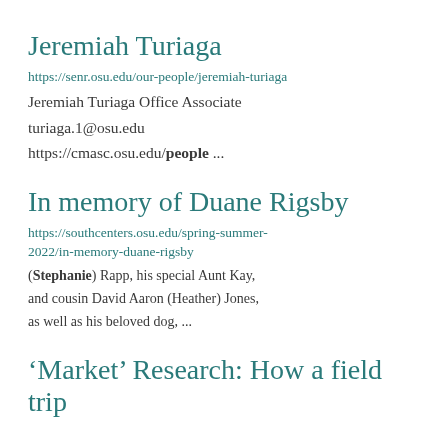Jeremiah Turiaga
https://senr.osu.edu/our-people/jeremiah-turiaga
Jeremiah Turiaga Office Associate
turiaga.1@osu.edu
https://cmasc.osu.edu/people ...
In memory of Duane Rigsby
https://southcenters.osu.edu/spring-summer-2022/in-memory-duane-rigsby
(Stephanie) Rapp, his special Aunt Kay, and cousin David Aaron (Heather) Jones, as well as his beloved dog, ...
‘Market’ Research: How a field trip